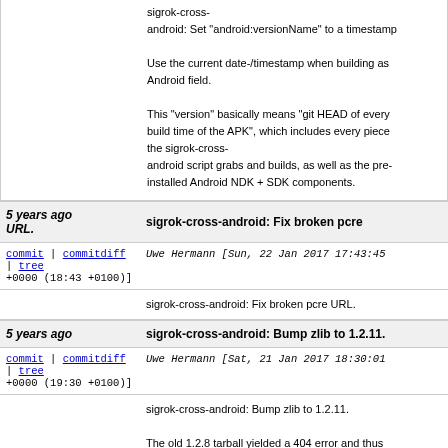sigrok-cross-android: Set "android:versionName" to a timestamp

Use the current date-/timestamp when building as Android field.

This "version" basically means "git HEAD of every build time of the APK", which includes every piece the sigrok-cross-android script grabs and builds, as well as the pre-installed Android NDK + SDK components.
5 years ago | sigrok-cross-android: Fix broken pcre URL.
commit | commitdiff | tree  Uwe Hermann [Sun, 22 Jan 2017 17:43:45 +0000 (18:43 +0100)]
sigrok-cross-android: Fix broken pcre URL.
5 years ago | sigrok-cross-android: Bump zlib to 1.2.11.
commit | commitdiff | tree  Uwe Hermann [Sat, 21 Jan 2017 18:30:01 +0000 (19:30 +0100)]
sigrok-cross-android: Bump zlib to 1.2.11.

The old 1.2.8 tarball yielded a 404 error and thus